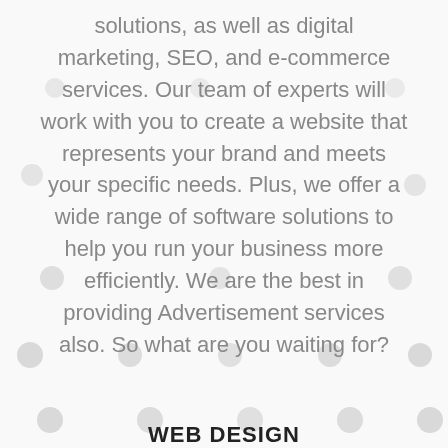solutions, as well as digital marketing, SEO, and e-commerce services. Our team of experts will work with you to create a website that represents your brand and meets your specific needs. Plus, we offer a wide range of software solutions to help you run your business more efficiently. We are the best in providing Advertisement services also. So what are you waiting for?
WEB DESIGN